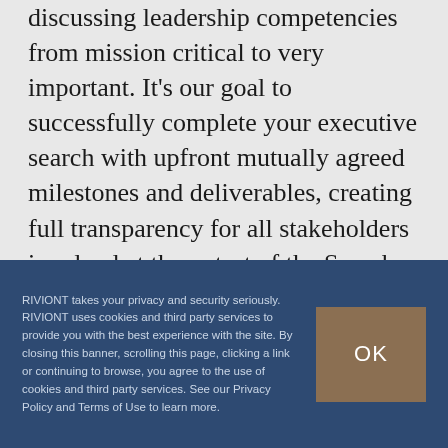discussing leadership competencies from mission critical to very important. It's our goal to successfully complete your executive search with upfront mutually agreed milestones and deliverables, creating full transparency for all stakeholders involved at the outset of the Search Project.

RIVIONT follows a thoroughly validated, time tested Search Process. Our Methods including
RIVIONT takes your privacy and security seriously. RIVIONT uses cookies and third party services to provide you with the best experience with the site. By closing this banner, scrolling this page, clicking a link or continuing to browse, you agree to the use of cookies and third party services. See our Privacy Policy and Terms of Use to learn more.